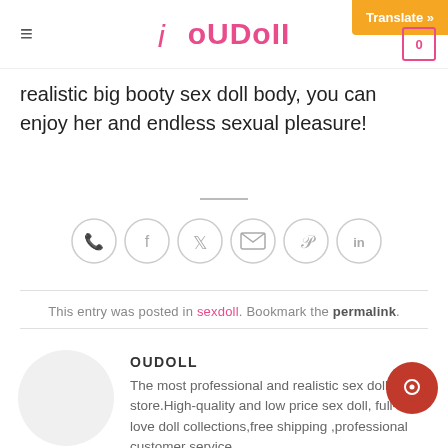≡  ioUDoII  Translate »  0
realistic big booty sex doll body, you can enjoy her and endless sexual pleasure!
This entry was posted in sexdoll. Bookmark the permalink.
OUDOLL
The most professional and realistic sex doll store.High-quality and low price sex doll, full-size love doll collections,free shipping ,professional customer service.